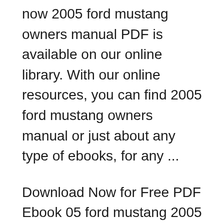now 2005 ford mustang owners manual PDF is available on our online library. With our online resources, you can find 2005 ford mustang owners manual or just about any type of ebooks, for any ...
Download Now for Free PDF Ebook 05 ford mustang 2005 owners manual at our Online Ebook Library. Get 05 ford mustang 2005 owners manual PDF file for free from our online library PDF File: 05 ford mustang 2005 owners manual. 05 FORD MUSTANG 2005 OWNERS MANUAL PDF [PDF] 100 DAYS TO CREATE A PERSONA PROFILE FOR SUCCESS THE POWER OF PERSONA PROFILING Ford Mustang 2005 Pdf User Manuals. View online or download Ford